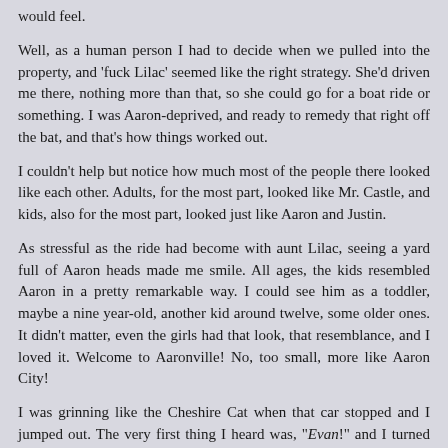would feel.
Well, as a human person I had to decide when we pulled into the property, and 'fuck Lilac' seemed like the right strategy. She'd driven me there, nothing more than that, so she could go for a boat ride or something. I was Aaron-deprived, and ready to remedy that right off the bat, and that's how things worked out.
I couldn't help but notice how much most of the people there looked like each other. Adults, for the most part, looked like Mr. Castle, and kids, also for the most part, looked just like Aaron and Justin.
As stressful as the ride had become with aunt Lilac, seeing a yard full of Aaron heads made me smile. All ages, the kids resembled Aaron in a pretty remarkable way. I could see him as a toddler, maybe a nine year-old, another kid around twelve, some older ones. It didn't matter, even the girls had that look, that resemblance, and I loved it. Welcome to Aaronville! No, too small, more like Aaron City!
I was grinning like the Cheshire Cat when that car stopped and I jumped out. The very first thing I heard was, "Evan!" and I turned quickly to see the real Aaron right there smiling. I grinned, and with a little hop I was there hugging him.